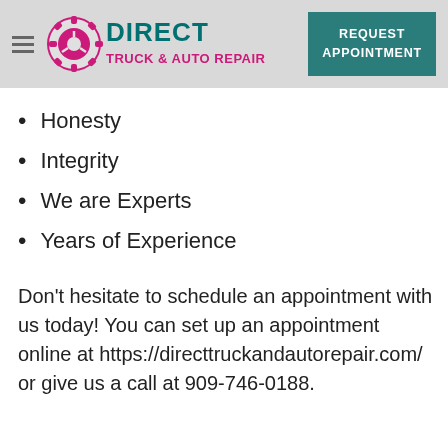[Figure (logo): Direct Truck & Auto Repair logo with pink gear/steering wheel icon and teal/pink text]
Honesty
Integrity
We are Experts
Years of Experience
Don't hesitate to schedule an appointment with us today! You can set up an appointment online at https://directtruckandautorepair.com/ or give us a call at 909-746-0188.